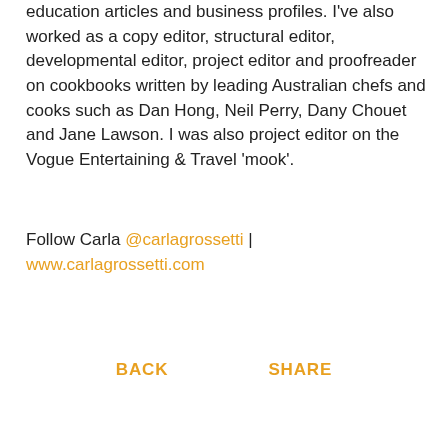education articles and business profiles. I've also worked as a copy editor, structural editor, developmental editor, project editor and proofreader on cookbooks written by leading Australian chefs and cooks such as Dan Hong, Neil Perry, Dany Chouet and Jane Lawson. I was also project editor on the Vogue Entertaining & Travel 'mook'.
Follow Carla @carlagrossetti | www.carlagrossetti.com
BACK   SHARE